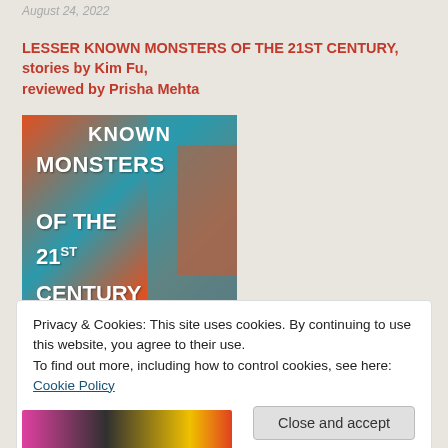August 24, 2022
LESSER KNOWN MONSTERS OF THE 21ST CENTURY, stories by Kim Fu, reviewed by Prisha Mehta
[Figure (illustration): Book cover of 'Lesser Known Monsters of the 21st Century' by Kim Fu — colorful illustrated cover with orange, teal, and red tones showing text KNOWN / MONSTERS / OF THE / 21ST CENTURY and STORIES at the bottom in yellow.]
Privacy & Cookies: This site uses cookies. By continuing to use this website, you agree to their use.
To find out more, including how to control cookies, see here: Cookie Policy
Close and accept
[Figure (photo): Partial image at bottom of page, colorful.]